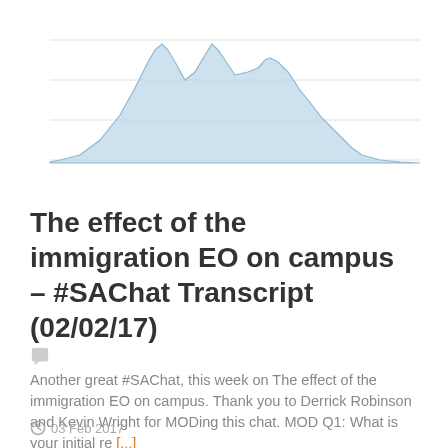[Figure (area-chart): Area chart showing a mountain-shaped distribution with multiple peaks, shaded light blue, on a white background with horizontal gridlines.]
The effect of the immigration EO on campus – #SAChat Transcript (02/02/17)
Another great #SAChat, this week on The effect of the immigration EO on campus. Thank you to Derrick Robinson and Kevin Wright for MODing this chat. MOD Q1: What is your initial re [...]
03 Feb 2017